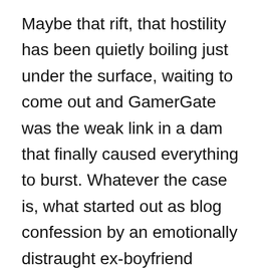Maybe that rift, that hostility has been quietly boiling just under the surface, waiting to come out and GamerGate was the weak link in a dam that finally caused everything to burst. Whatever the case is, what started out as blog confession by an emotionally distraught ex-boyfriend eventually turned into gamers examining the journalists and media outlets they read, questioning their ethics. And here’s where the first failure happened. The media outlets, which